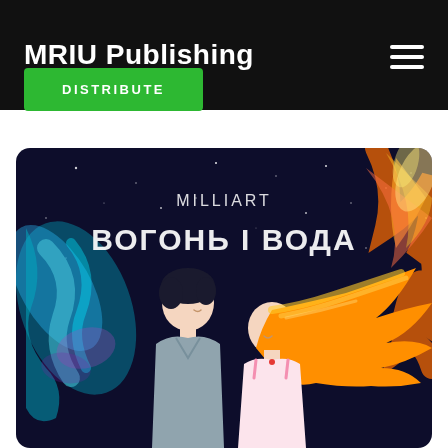MRIU Publishing
DISTRIBUTE
[Figure (illustration): Anime-style illustration showing two figures facing each other: a boy with dark hair on the left surrounded by blue/teal water splashes, and a girl with orange hair on the right surrounded by orange and yellow flames, against a dark starry night sky. Text at top reads 'MILLIART' and 'ВОГОНЬ І ВОДА' (Fire and Water in Ukrainian).]